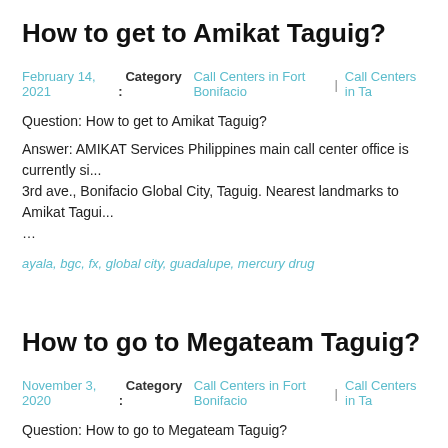How to get to Amikat Taguig?
February 14, 2021   Category :  Call Centers in Fort Bonifacio  |  Call Centers in Ta...
Question: How to get to Amikat Taguig?
Answer: AMIKAT Services Philippines main call center office is currently si... 3rd ave., Bonifacio Global City, Taguig. Nearest landmarks to Amikat Tagui... …
ayala, bgc, fx, global city, guadalupe, mercury drug
How to go to Megateam Taguig?
November 3, 2020   Category :  Call Centers in Fort Bonifacio  |  Call Centers in Ta...
Question: How to go to Megateam Taguig?
Answer: Megateam Philippines main call center office is currently located i... Bonifacio Global City, Taguig. Nearest landmarks to Megateam Taguig are... Drug.